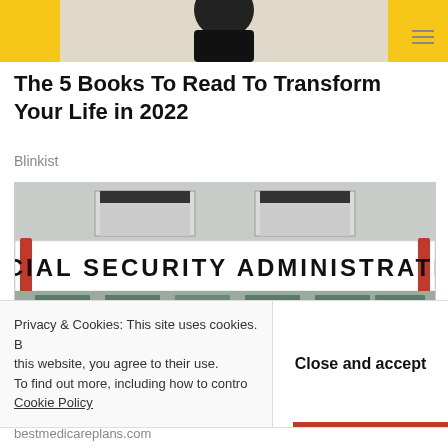[Figure (photo): Top banner with person in black turtleneck against yellow background, with hamburger menu icon top right]
The 5 Books To Read To Transform Your Life in 2022
Blinkist
[Figure (photo): Photograph of Social Security Administration building entrance with large sign reading SOCIAL SECURITY ADMINISTRATION, two sets of glass doors, red pylons, and concrete facade]
Privacy & Cookies: This site uses cookies. By continuing to use this website, you agree to their use. To find out more, including how to control cookies, see here: Cookie Policy    Close and accept
bestmedicareplans.com